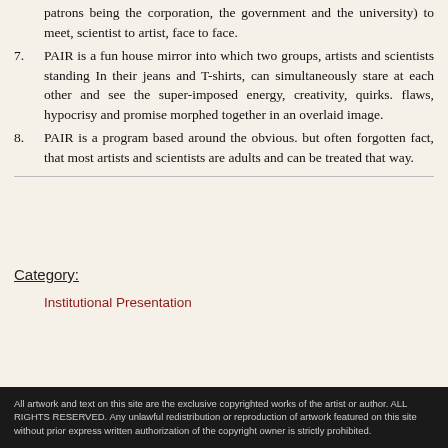patrons being the corporation, the government and the university) to meet, scientist to artist, face to face.
7. PAIR is a fun house mirror into which two groups, artists and scientists standing In their jeans and T-shirts, can simultaneously stare at each other and see the super-imposed energy, creativity, quirks. flaws, hypocrisy and promise morphed together in an overlaid image.
8. PAIR is a program based around the obvious. but often forgotten fact, that most artists and scientists are adults and can be treated that way.
Category:
Institutional Presentation
All artwork and text on this site are the exclusive copyrighted works of the artist or author. ALL RIGHTS RESERVED. Any unlawful redistribution or reproduction of artwork featured on this site without prior express written authorization of the copyright owner is strictly prohibited.